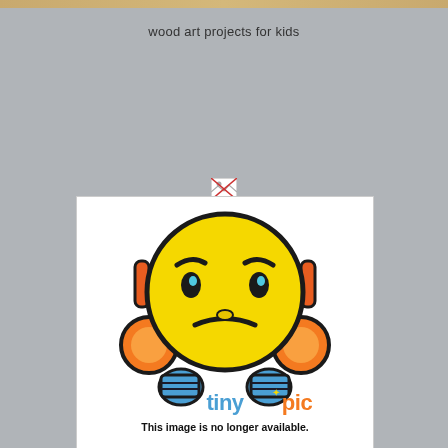wood art projects for kids
[Figure (illustration): TinyPic 'image no longer available' placeholder showing a sad yellow emoji face with orange headphones and blue hands, with the tinypic logo and text 'This image is no longer available.']